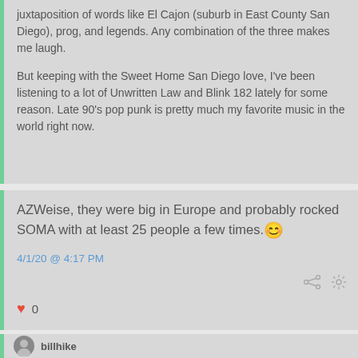juxtaposition of words like El Cajon (suburb in East County San Diego), prog, and legends.  Any combination of the three makes me laugh.

But keeping with the Sweet Home San Diego love, I've been listening to a lot of Unwritten Law and Blink 182 lately for some reason.  Late 90's pop punk is pretty much my favorite music in the world right now.
AZWeise, they were big in Europe and probably rocked SOMA with at least 25 people a few times.
4/1/20  @  4:17 PM
0
billhike